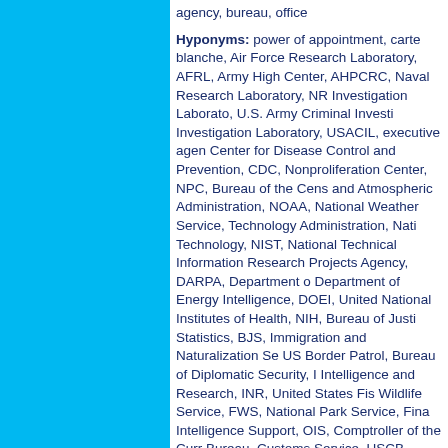agency, bureau, office
Hyponyms: power of appointment, carte blanche, Air Force Research Laboratory, AFRL, Army High Center, AHPCRC, Naval Research Laboratory, NR Investigation Laborato, U.S. Army Criminal Investi Investigation Laboratory, USACIL, executive agen Center for Disease Control and Prevention, CDC, Nonproliferation Center, NPC, Bureau of the Cens and Atmospheric Administration, NOAA, National Weather Service, Technology Administration, Nati Technology, NIST, National Technical Information Research Projects Agency, DARPA, Department o Department of Energy Intelligence, DOEI, United National Institutes of Health, NIH, Bureau of Justi Statistics, BJS, Immigration and Naturalization Se US Border Patrol, Bureau of Diplomatic Security, I Intelligence and Research, INR, United States Fis Wildlife Service, FWS, National Park Service, Fina Intelligence Support, OIS, Comptroller of the Curr Bureau, Customs Service, USCB, Bureau of Engr Service, IRS, Federal Aviation Agency, FAA, Tran Government Accounting Office, GAO, United Stat States Coast Guard, U. S. Coast Guard, US Coas Weapons Division, NAWCWPNS, Naval Special W